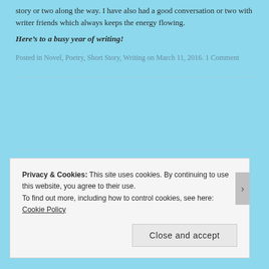story or two along the way. I have also had a good conversation or two with writer friends which always keeps the energy flowing.
Here’s to a busy year of writing!
Posted in Novel, Poetry, Short Story, Writing on March 11, 2016. 1 Comment
Privacy & Cookies: This site uses cookies. By continuing to use this website, you agree to their use.
To find out more, including how to control cookies, see here: Cookie Policy
Close and accept